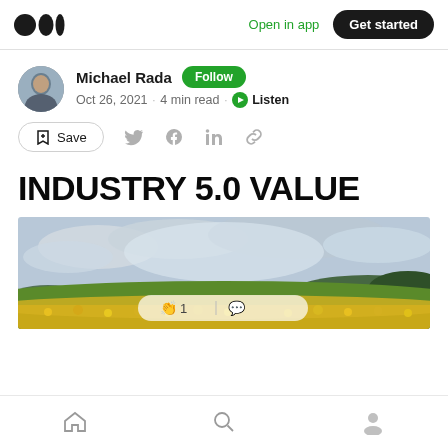Medium logo | Open in app | Get started
Michael Rada · Follow · Oct 26, 2021 · 4 min read · Listen
Save
INDUSTRY 5.0 VALUE
[Figure (photo): Landscape photo showing a field of sunflowers in the foreground and a cloudy sky with rolling green hills in the background.]
Home | Search | Profile